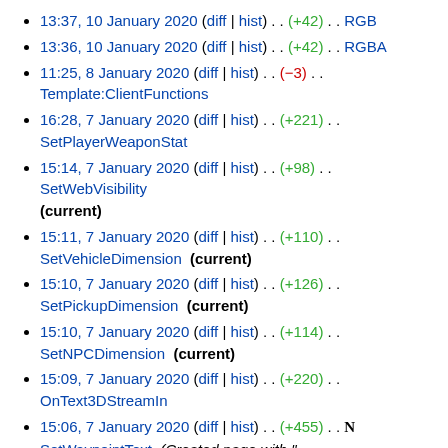13:37, 10 January 2020 (diff | hist) . . (+42) . . RGB
13:36, 10 January 2020 (diff | hist) . . (+42) . . RGBA
11:25, 8 January 2020 (diff | hist) . . (-3) . . Template:ClientFunctions
16:28, 7 January 2020 (diff | hist) . . (+221) . . SetPlayerWeaponStat
15:14, 7 January 2020 (diff | hist) . . (+98) . . SetWebVisibility (current)
15:11, 7 January 2020 (diff | hist) . . (+110) . . SetVehicleDimension (current)
15:10, 7 January 2020 (diff | hist) . . (+126) . . SetPickupDimension (current)
15:10, 7 January 2020 (diff | hist) . . (+114) . . SetNPCDimension (current)
15:09, 7 January 2020 (diff | hist) . . (+220) . . OnText3DStreamIn
15:06, 7 January 2020 (diff | hist) . . (+455) . . N SetWaypointText (Created page with " {{Info|Function|Client|1.0}} {{FuncDescription|Updates the specified waypoint Id text.}}